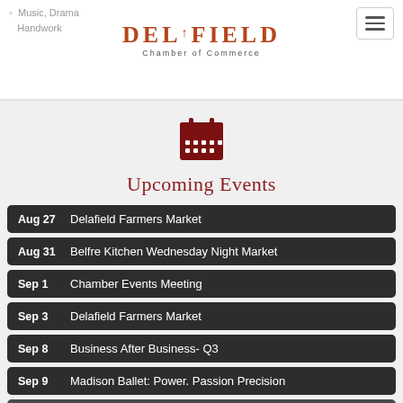Music, Drama
Handwork
[Figure (logo): Delafield Chamber of Commerce logo with decorative crown/finial in terracotta/brick red color]
[Figure (illustration): Dark red calendar icon with grid of dots]
Upcoming Events
Aug 27  Delafield Farmers Market
Aug 31  Belfre Kitchen Wednesday Night Market
Sep 1  Chamber Events Meeting
Sep 3  Delafield Farmers Market
Sep 8  Business After Business- Q3
Sep 9  Madison Ballet: Power. Passion Precision